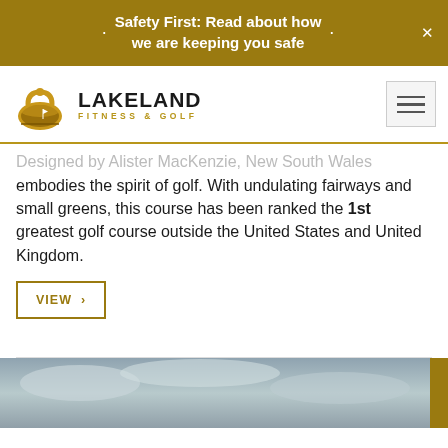Safety First: Read about how we are keeping you safe
[Figure (logo): Lakeland Fitness & Golf logo with kettlebell/golf scene icon]
Designed by Alister MacKenzie, New South Wales embodies the spirit of golf. With undulating fairways and small greens, this course has been ranked the 1st greatest golf course outside the United States and United Kingdom.
VIEW ›
[Figure (photo): Partial photo showing cloudy sky, bottom of page]